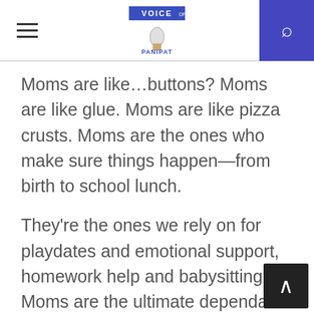Voice of Panipat — navigation header with hamburger menu and search button
Moms are like…buttons? Moms are like glue. Moms are like pizza crusts. Moms are the ones who make sure things happen—from birth to school lunch.
They're the ones we rely on for playdates and emotional support, homework help and babysitting. Moms are the ultimate dependable support. Like, hopefully, the button on your jeans.